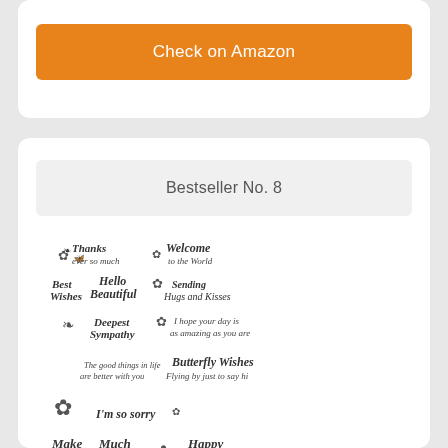Check on Amazon
Bestseller No. 8
[Figure (photo): A rubber stamp set featuring butterfly illustrations and various script sentiment messages including 'Thanks ever so much', 'Welcome to the World', 'Best Wishes', 'Hello Beautiful', 'Sending Hugs and Kisses', 'Deepest Sympathy', 'I hope your day is as amazing as you are', 'The good things in life are better with you', 'Butterfly Wishes Flying by just to say hi', 'I'm so sorry', 'Make a Wish', 'Much Love', 'Happy Birthday']